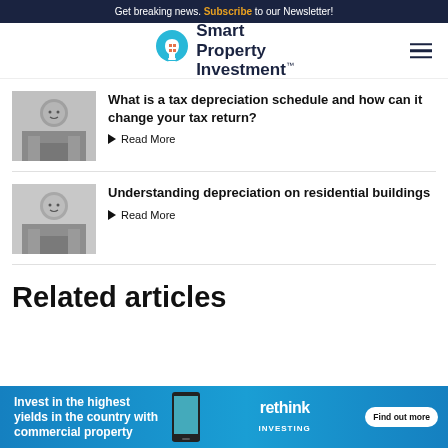Get breaking news. Subscribe to our Newsletter!
[Figure (logo): Smart Property Investment logo with lightbulb icon]
What is a tax depreciation schedule and how can it change your tax return?
Read More
Understanding depreciation on residential buildings
Read More
Related articles
[Figure (infographic): Advertisement banner: Invest in the highest yields in the country with commercial property - Rethink Investing - Find out more]